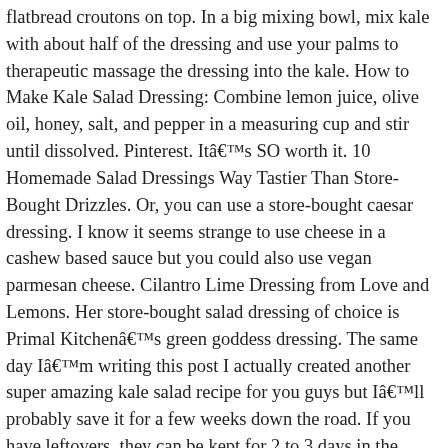flatbread croutons on top. In a big mixing bowl, mix kale with about half of the dressing and use your palms to therapeutic massage the dressing into the kale. How to Make Kale Salad Dressing: Combine lemon juice, olive oil, honey, salt, and pepper in a measuring cup and stir until dissolved. Pinterest. Itâs SO worth it. 10 Homemade Salad Dressings Way Tastier Than Store-Bought Drizzles. Or, you can use a store-bought caesar dressing. I know it seems strange to use cheese in a cashew based sauce but you could also use vegan parmesan cheese. Cilantro Lime Dressing from Love and Lemons. Her store-bought salad dressing of choice is Primal Kitchenâs green goddess dressing. The same day Iâm writing this post I actually created another super amazing kale salad recipe for you guys but Iâll probably save it for a few weeks down the road. If you have leftovers, they can be kept for 2 to 3 days in the fridge (although the croutons will lose their crunch). Unhealthy Bottled Salad Dressing Ingredients. You wouldn't think that adding so many flavors together would be so delicious, but it all comes together perfectly. Take a minute and make your own healthy homemade salad dressing. Still, a store-bought salad dressing is just a condiment like any other. These